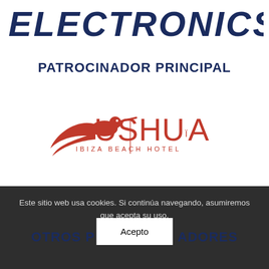[Figure (logo): ELECTRONICS text logo in bold italic dark navy blue uppercase letters]
PATROCINADOR PRINCIPAL
[Figure (logo): Ushuaia Ibiza Beach Hotel logo with red hummingbird and red stylized text]
Este sitio web usa cookies. Si continúa navegando, asumiremos que acepta su uso.
OTROS P ADORES
Acepto